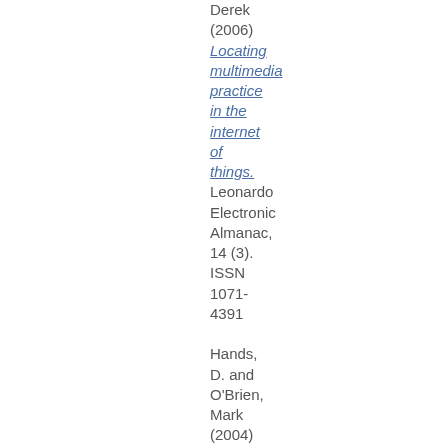Derek (2006) Locating multimedia practice in the internet of things. Leonardo Electronic Almanac, 14 (3). ISSN 1071-4391

Hands, D. and O'Brien, Mark (2004)